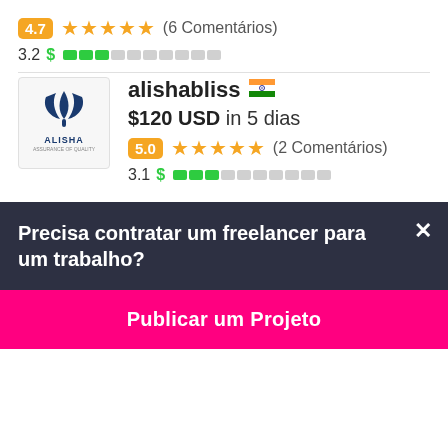4.7 ★★★★★ (6 Comentários)
3.2 $ ██░░░░░░░░
alishabliss 🇮🇳
$120 USD in 5 dias
5.0 ★★★★★ (2 Comentários)
3.1 $ ██░░░░░░░░
Precisa contratar um freelancer para um trabalho?
Publicar um Projeto